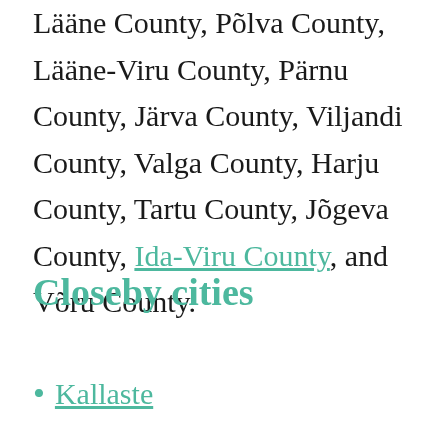Lääne County, Põlva County, Lääne-Viru County, Pärnu County, Järva County, Viljandi County, Valga County, Harju County, Tartu County, Jõgeva County, Ida-Viru County, and Võru County.
Closeby cities
Kallaste